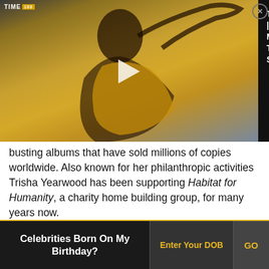[Figure (screenshot): Video overlay player showing TIME100 | Megan Thee Stallion. Left side shows a thumbnail of a woman in a gold/yellow outfit against a light background, with a play button. A TIME100 logo badge appears top-left. Right side is a dark panel with the title 'TIME100 | Megan Thee Stallion' in white text and a close (X) button.]
busting albums that have sold millions of copies worldwide. Also known for her philanthropic activities Trisha Yearwood has been supporting Habitat for Humanity, a charity home building group, for many years now.
Recommended Lists:
Oregon Actresses
Pennsylvania Actresses
Tennessee Actresses
[Figure (screenshot): Partial view of a numbered list item with a dark background box on the left and italic text beginning with 'Chiara A... McShi...' (partially cut off at bottom of page)]
Celebrities Born On My Birthday?
Enter Your DOB
GO